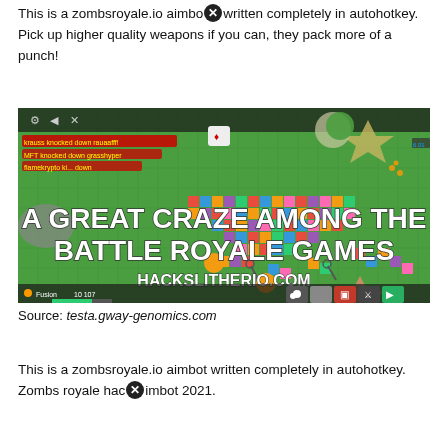This is a zombsroyale.io aimbot written completely in autohotkey. Pick up higher quality weapons if you can, they pack more of a punch!
[Figure (screenshot): Screenshot of zombsroyale.io game with overlaid text 'A GREAT CRAZE AMONG THE BATTLE ROYALE GAMES' and 'HACKSLITHERIO.COM' on a green grid background with colorful square tiles.]
Source: testa.gway-genomics.com
This is a zombsroyale.io aimbot written completely in autohotkey. Zombs royale hack aimbot 2021.